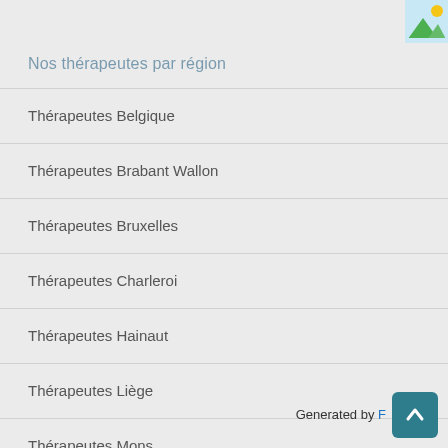[Figure (illustration): Landscape image icon in top right corner]
Nos thérapeutes par région
Thérapeutes Belgique
Thérapeutes Brabant Wallon
Thérapeutes Bruxelles
Thérapeutes Charleroi
Thérapeutes Hainaut
Thérapeutes Liège
Thérapeutes Mons
Generated by F